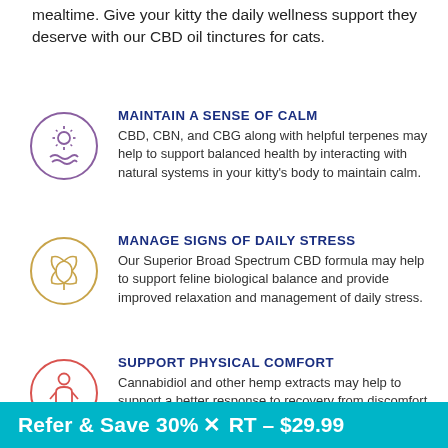mealtime. Give your kitty the daily wellness support they deserve with our CBD oil tinctures for cats.
CBD, CBN, and CBG along with helpful terpenes may help to support balanced health by interacting with natural systems in your kitty's body to maintain calm.
Our Superior Broad Spectrum CBD formula may help to support feline biological balance and provide improved relaxation and management of daily stress.
Cannabidiol and other hemp extracts may help to support a better response to recovery from discomfort in muscles and joints after active play or physical
Refer & Save 30% X RT – $29.99